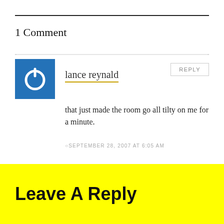1 Comment
[Figure (illustration): Blue square avatar icon with a white power/standby symbol (circle with a vertical line at the top)]
lance reynald
that just made the room go all tilty on me for a minute.
SEPTEMBER 28, 2007 AT 6:05 AM
REPLY
Leave A Reply